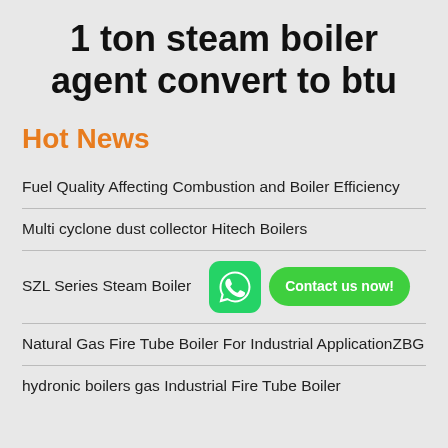1 ton steam boiler agent convert to btu
Hot News
Fuel Quality Affecting Combustion and Boiler Efficiency
Multi cyclone dust collector Hitech Boilers
SZL Series Steam Boiler
Natural Gas Fire Tube Boiler For Industrial ApplicationZBG
hydronic boilers gas Industrial Fire Tube Boiler